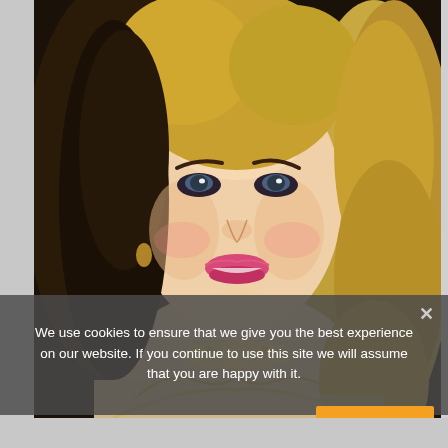[Figure (photo): Portrait photograph of a young blonde woman with wavy hair, wearing a light pink/beige embroidered dress with gold jewelry necklace, smiling, dark background]
We use cookies to ensure that we give you the best experience on our website. If you continue to use this site we will assume that you are happy with it.
Translate »